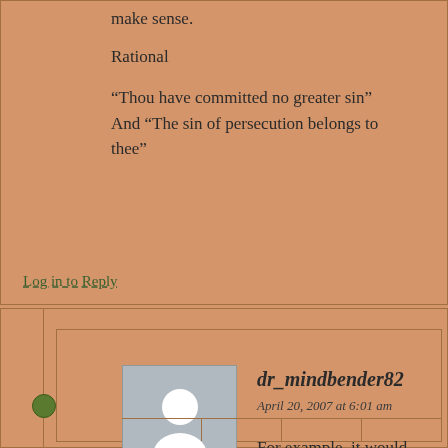make sense.
Rational
“Thou have committed no greater sin” And “The sin of persecution belongs to thee”
Log in to Reply
dr_mindbender82
April 20, 2007 at 6:01 am
For example, it would look something like this.